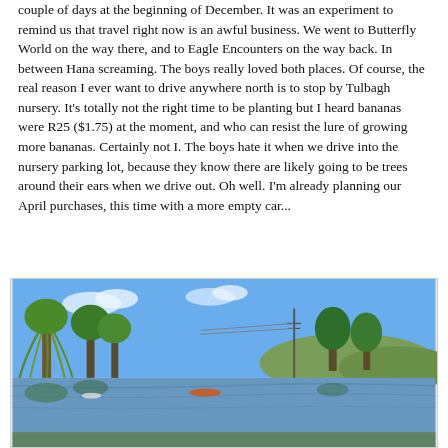couple of days at the beginning of December. It was an experiment to remind us that travel right now is an awful business. We went to Butterfly World on the way there, and to Eagle Encounters on the way back. In between Hana screaming. The boys really loved both places. Of course, the real reason I ever want to drive anywhere north is to stop by Tulbagh nursery. It's totally not the right time to be planting but I heard bananas were R25 ($1.75) at the moment, and who can resist the lure of growing more bananas. Certainly not I. The boys hate it when we drive into the nursery parking lot, because they know there are likely going to be trees around their ears when we drive out. Oh well. I'm already planning our April purchases, this time with a more empty car...
[Figure (photo): Outdoor photo of a calm river or lake scene with lush green willow trees and other trees along the banks, blue sky with some clouds, hills in the background, and what appears to be a small boat or kayak on the water.]